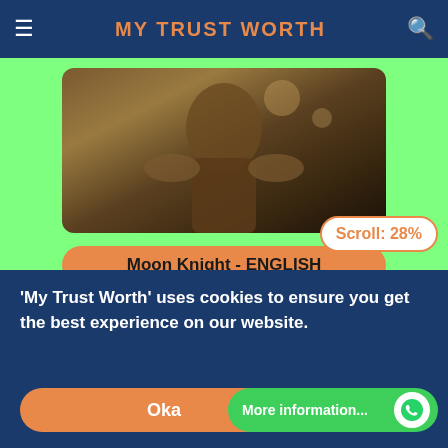MY TRUST WORTH
[Figure (photo): Movie banner image for Moon Knight (partially visible, brown/dark tones)]
Moon Knight - ENGLISH
[Figure (photo): Snowpiercer TV show/movie banner showing title text and two actors]
[Figure (infographic): Scroll: 28% badge indicator]
'My Trust Worth' uses cookies to ensure you get the best experience on our website.
Oka
More information...